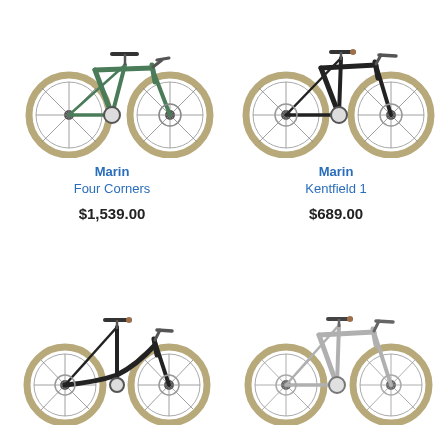[Figure (photo): Green Marin Four Corners bicycle, side view, with tan/brown tires]
[Figure (photo): Black Marin Kentfield 1 bicycle, side view, with tan/brown tires]
Marin
Four Corners
$1,539.00
Marin
Kentfield 1
$689.00
[Figure (photo): Black Marin bicycle (step-through/women's style), side view, with tan/brown tires]
[Figure (photo): Silver/grey Marin bicycle, side view, with tan/brown tires]